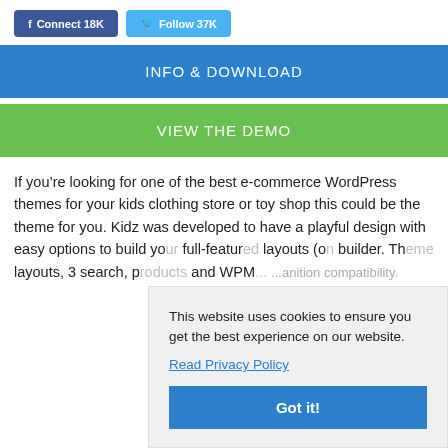f Connect 18K
Follow 37K
INFO & DOWNLOAD
VIEW THE DEMO
If you’re looking for one of the best e-commerce WordPress themes for your kids clothing store or toy shop this could be the theme for you. Kidz was developed to have a playful design with easy options to build yo... full-featur... layouts (o... builder. Th... layouts, 3... search, p... and WPM... ...anition compatibility.
This website uses cookies to ensure you get the best experience on our website.
Read Privacy Policy
Got it!